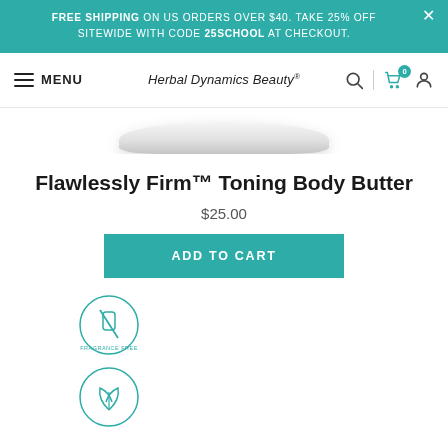FREE SHIPPING ON US ORDERS OVER $40. TAKE 25% OFF SITEWIDE WITH CODE 25SCHOOL AT CHECKOUT.
[Figure (screenshot): Navigation bar with hamburger menu (MENU), Herbal Dynamics Beauty brand name in center, search icon, cart icon with badge '0', and profile icon on the right.]
[Figure (photo): Partial view of a white product jar lid (Flawlessly Firm Toning Body Butter) showing only the top curved lid on a white background.]
Flawlessly Firm™ Toning Body Butter
$25.00
ADD TO CART
[Figure (illustration): Circular badge icon with a crossed-out bottle, labeled FRAGRANCE FREE around the border, drawn in teal/mint outline style.]
[Figure (illustration): Circular badge icon with a plant/leaf symbol, partially visible at the bottom of the page, drawn in teal/mint outline style.]